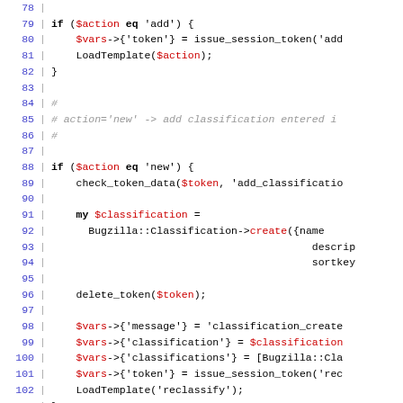[Figure (screenshot): Source code screenshot showing Perl code lines 78-108, with syntax highlighting: line numbers in blue on left, code in black/red/grey for keywords/variables/comments]